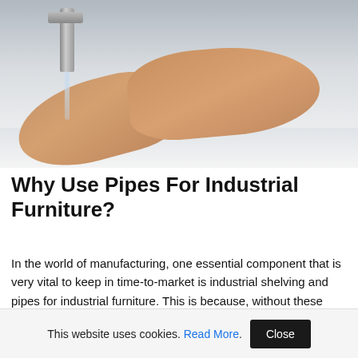[Figure (photo): Hands being washed or rinsed under a running faucet over a white sink basin]
Why Use Pipes For Industrial Furniture?
In the world of manufacturing, one essential component that is very vital to keep in time-to-market is industrial shelving and pipes for industrial furniture. This is because, without these pipes and flanges, the goods produced in a factory would not pass through their
This website uses cookies. Read More. Close